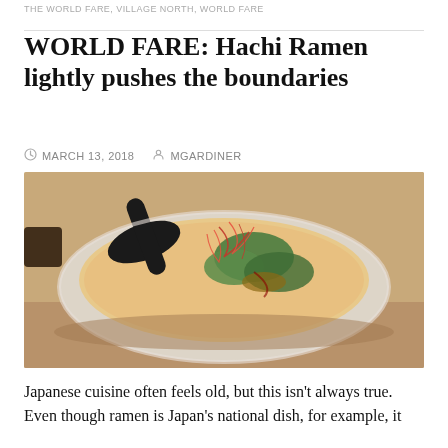THE WORLD FARE, VILLAGE NORTH, WORLD FARE
WORLD FARE: Hachi Ramen lightly pushes the boundaries
MARCH 13, 2018   MGARDINER
[Figure (photo): A bowl of ramen with creamy broth, a dark ladle, fresh cilantro, red chili threads, and garnishes on a wooden table]
Japanese cuisine often feels old, but this isn't always true. Even though ramen is Japan's national dish, for example, it